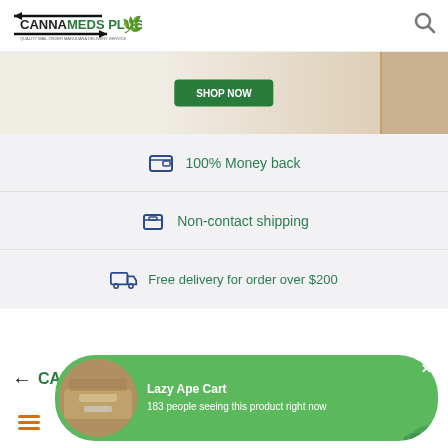CANNA MEDS PLUG
[Figure (photo): Banner image with a green button and a brown box/package in the top right corner]
100% Money back
Non-contact shipping
Free delivery for order over $200
[Figure (screenshot): Popup notification showing Lazy Ape Cart product with image. Text: 'Lazy Ape Cart' and '183 people seeing this product right now']